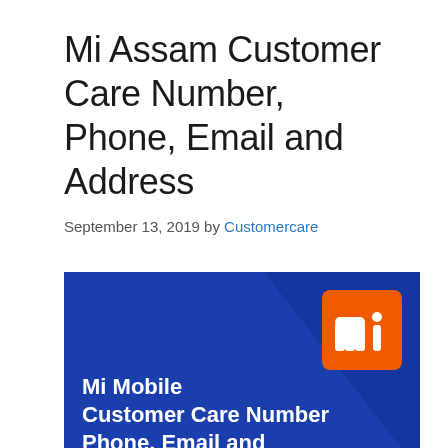Mi Assam Customer Care Number, Phone, Email and Address
September 13, 2019 by Customercare
[Figure (infographic): Blue background banner with a diagonal dark-blue triangle design. Orange Mi logo (square with rounded corners and white 'mi' text) in the upper right. White bold text reads: 'Mi Mobile Customer Care Number Phone, Email and Address']